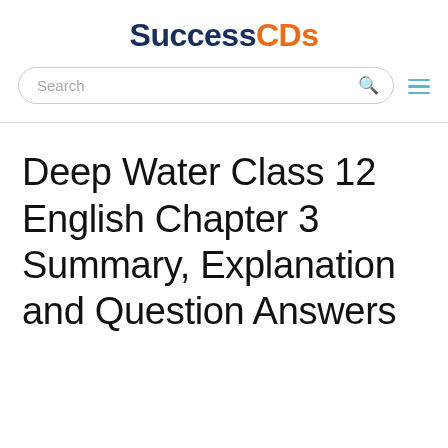SuccessCDs
Deep Water Class 12 English Chapter 3 Summary, Explanation and Question Answers